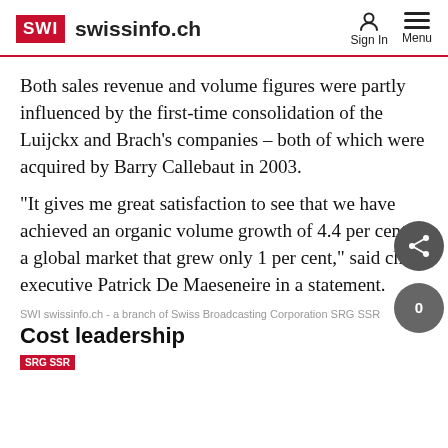SWI swissinfo.ch
Both sales revenue and volume figures were partly influenced by the first-time consolidation of the Luijckx and Brach’s companies – both of which were acquired by Barry Callebaut in 2003.
“It gives me great satisfaction to see that we have achieved an organic volume growth of 4.4 per cent in a global market that grew only 1 per cent,” said chief executive Patrick De Maeseneire in a statement.
SWI swissinfo.ch - a branch of Swiss Broadcasting Corporation SRG SSR
Cost leadership